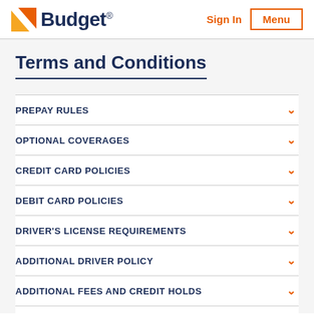Budget | Sign In | Menu
Terms and Conditions
PREPAY RULES
OPTIONAL COVERAGES
CREDIT CARD POLICIES
DEBIT CARD POLICIES
DRIVER'S LICENSE REQUIREMENTS
ADDITIONAL DRIVER POLICY
ADDITIONAL FEES AND CREDIT HOLDS
AGE REQUIREMENTS